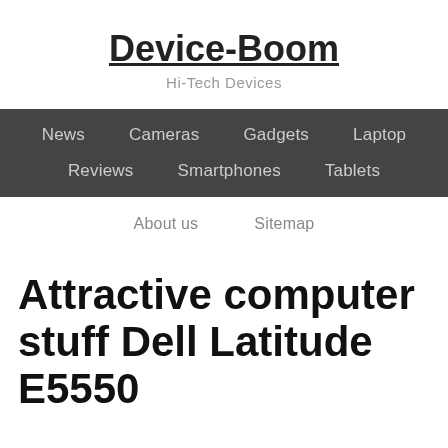Device-Boom
Hi-Tech Devices
News   Cameras   Gadgets   Laptop   Reviews   Smartphones   Tablets
About us   Sitemap
Attractive computer stuff Dell Latitude E5550